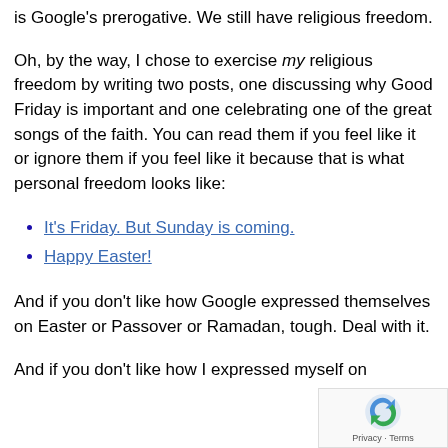is Google's prerogative. We still have religious freedom.
Oh, by the way, I chose to exercise my religious freedom by writing two posts, one discussing why Good Friday is important and one celebrating one of the great songs of the faith. You can read them if you feel like it or ignore them if you feel like it because that is what personal freedom looks like:
It's Friday. But Sunday is coming.
Happy Easter!
And if you don't like how Google expressed themselves on Easter or Passover or Ramadan, tough. Deal with it.
And if you don't like how I expressed myself on